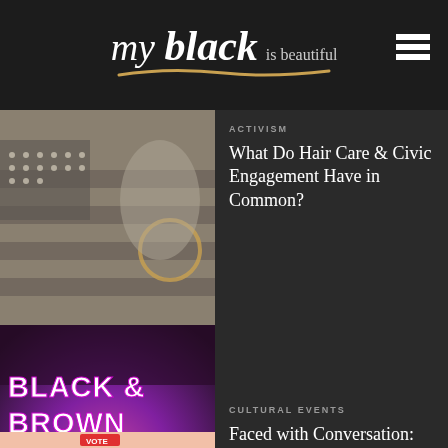my black is beautiful
[Figure (photo): American flag clothing/fabric with stars and stripes in sepia/grayscale tones]
ACTIVISM
What Do Hair Care & Civic Engagement Have in Common?
[Figure (photo): Colorful artwork showing an eye with makeup, text reads BLACK & BROWN FACES in neon-style lettering]
CULTURAL EVENTS
Faced with Conversation: Black & Brown Faces
[Figure (photo): Light pink background with VOTE signs and a figure, voting/civic engagement imagery]